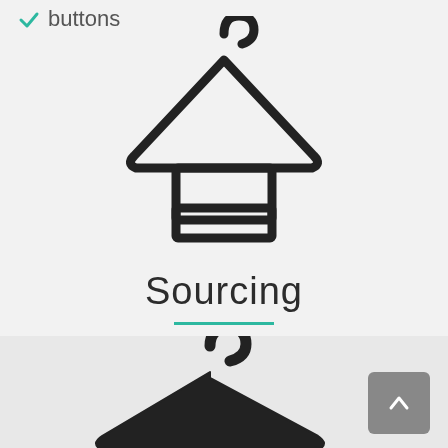buttons
[Figure (illustration): Outline icon of a clothing hanger with a folded garment/tag hanging from it]
Sourcing
The quality of the garmenst is reflected by the quality of the accesories used. We can supply our costumers with all kind of accesories:
[Figure (illustration): Solid/filled icon of a clothing hanger (bottom portion visible)]